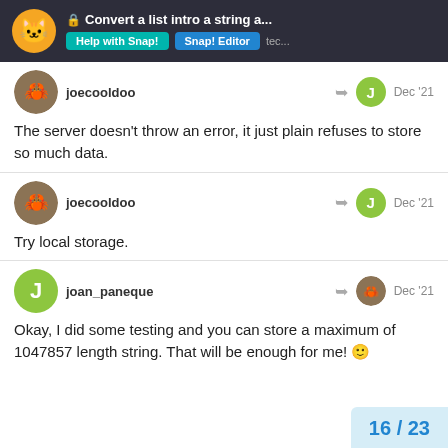Convert a list intro a string a...
joecooldoo
Dec '21
The server doesn't throw an error, it just plain refuses to store so much data.
joecooldoo
Dec '21
Try local storage.
joan_paneque
Dec '21
Okay, I did some testing and you can store a maximum of 1047857 length string. That will be enough for me!
16 / 23